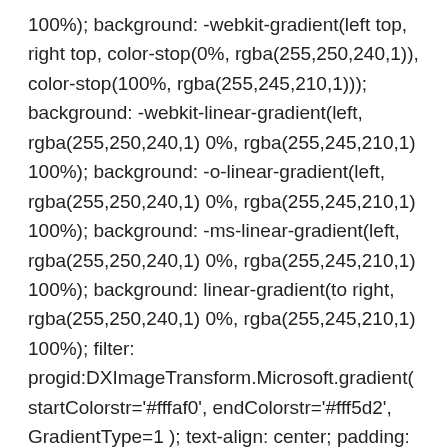100%); background: -webkit-gradient(left top, right top, color-stop(0%, rgba(255,250,240,1)), color-stop(100%, rgba(255,245,210,1))); background: -webkit-linear-gradient(left, rgba(255,250,240,1) 0%, rgba(255,245,210,1) 100%); background: -o-linear-gradient(left, rgba(255,250,240,1) 0%, rgba(255,245,210,1) 100%); background: -ms-linear-gradient(left, rgba(255,250,240,1) 0%, rgba(255,245,210,1) 100%); background: linear-gradient(to right, rgba(255,250,240,1) 0%, rgba(255,245,210,1) 100%); filter: progid:DXImageTransform.Microsoft.gradient( startColorstr='#fffaf0', endColorstr='#fff5d2', GradientType=1 ); text-align: center; padding: 35px